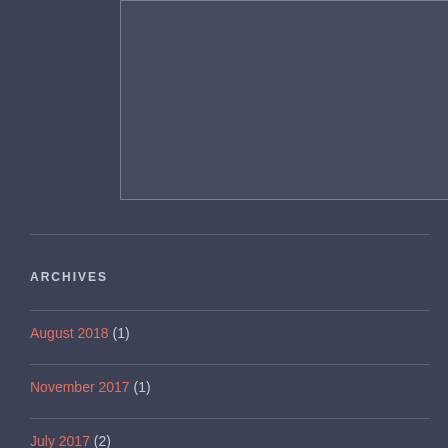[Figure (other): A rectangular bordered image placeholder on dark background]
ARCHIVES
August 2018 (1)
November 2017 (1)
July 2017 (2)